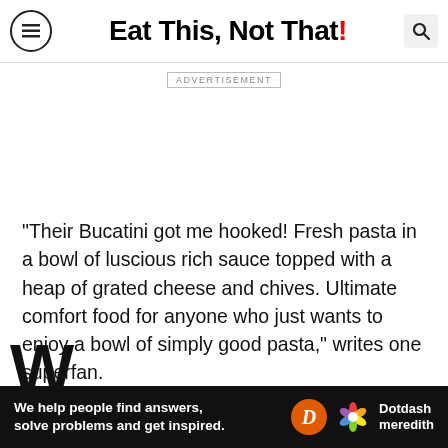Eat This, Not That!
ADVERTISEMENT
"Their Bucatini got me hooked! Fresh pasta in a bowl of luscious rich sauce topped with a heap of grated cheese and chives. Ultimate comfort food for anyone who just wants to enjoy a bowl of simply good pasta," writes one superfan.
[Figure (infographic): Dotdash Meredith advertisement banner: 'We help people find answers, solve problems and get inspired.']